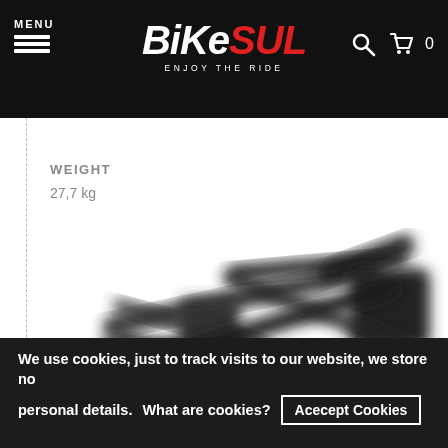MENU | BIKESUL ENJOY THE RIDE | [search icon] [cart icon] 0
WEIGHT
27,7 kg
[Figure (photo): Blurred photo of a black bicycle frame/component (appears to be a rear rack or frame part), shown in grayscale against white background]
We use cookies, just to track visits to our website, we store no personal details.  What are cookies?  Acecept Cookies